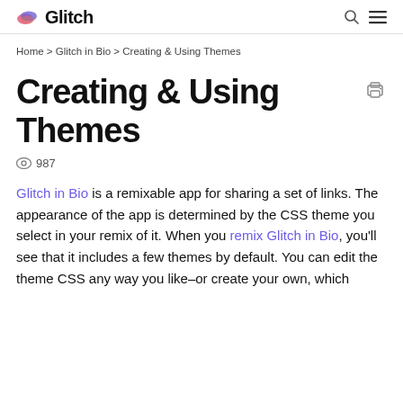Glitch
Home > Glitch in Bio > Creating & Using Themes
Creating & Using Themes
987
Glitch in Bio is a remixable app for sharing a set of links. The appearance of the app is determined by the CSS theme you select in your remix of it. When you remix Glitch in Bio, you'll see that it includes a few themes by default. You can edit the theme CSS any way you like–or create your own, which